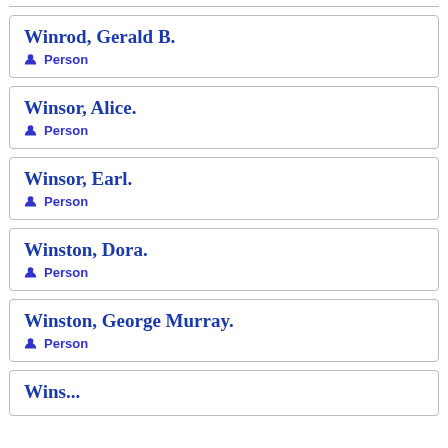Winrod, Gerald B. — Person
Winsor, Alice. — Person
Winsor, Earl. — Person
Winston, Dora. — Person
Winston, George Murray. — Person
(partial entry)